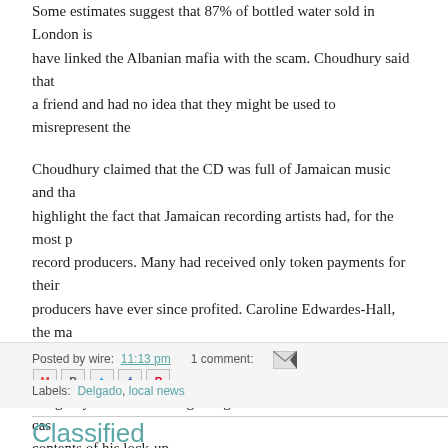Some estimates suggest that 87% of bottled water sold in London is have linked the Albanian mafia with the scam. Choudhury said that a friend and had no idea that they might be used to misrepresent the
Choudhury claimed that the CD was full of Jamaican music and tha highlight the fact that Jamaican recording artists had, for the most p record producers. Many had received only token payments for their producers have ever since profited. Caroline Edwardes-Hall, the ma activism and suggested that he should retain all receipts for purchas not guilty of counterfeiting charges and found that there was no cas contents of his lock-up.
Posted by wire: 11:13 pm   1 comment:
Labels: Delgado, local news
Classified
Music
Eugene Ionesco's "The Chairs - Volume 3" featuring 17 great track